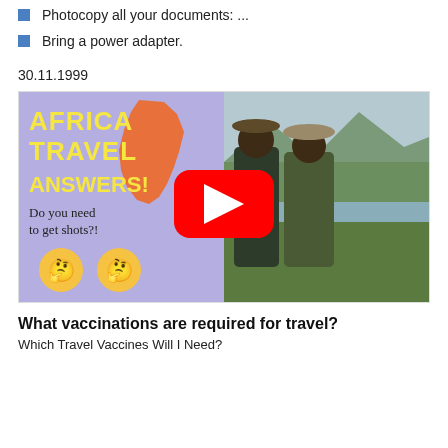Photocopy all your documents: ...
Bring a power adapter.
30.11.1999
[Figure (screenshot): YouTube video thumbnail for 'Africa Travel Answers! Do you need to get shots?!' showing two people in safari gear outdoors with Africa map graphic, yellow bold text, and thinking face emojis. A YouTube play button overlay is shown in the center.]
What vaccinations are required for travel?
Which Travel Vaccines Will I Need?